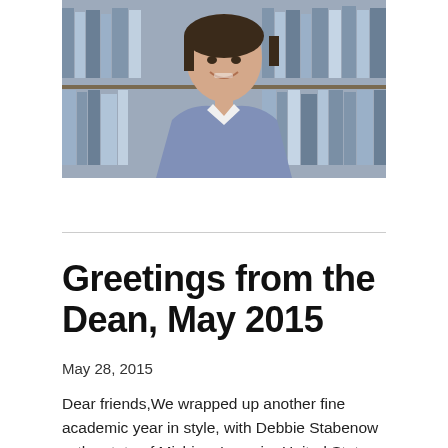[Figure (photo): Portrait photo of a smiling woman in a blue/grey blazer, seated in front of bookshelves filled with academic books.]
Greetings from the Dean, May 2015
May 28, 2015
Dear friends,We wrapped up another fine academic year in style, with Debbie Stabenow—the state of Michigan&#39;s senior United States Senator—providing the keynote address for our 2015 Commencement celebration. The